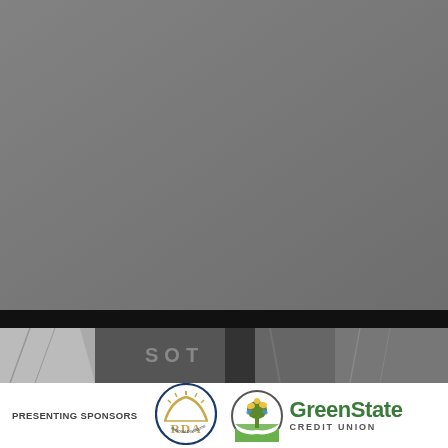[Figure (photo): Large grayscale/gray background photo filling the upper portion of the page]
[Figure (photo): Black bar and strip of smaller grayscale photos showing architectural/structural elements with letters S, O, T visible]
PRESENTING SPONSORS
[Figure (logo): RDA (Regional Development Agency) logo — circular gold/blue emblem with sunrise motif and text RDA]
[Figure (logo): GreenState Credit Union logo — circular emblem with green tree and leaves, next to GreenState Credit Union text]